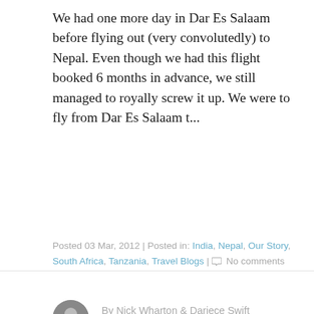We had one more day in Dar Es Salaam before flying out (very convolutedly) to Nepal. Even though we had this flight booked 6 months in advance, we still managed to royally screw it up. We were to fly from Dar Es Salaam t...
Posted 03 Mar, 2012 | Posted in: India, Nepal, Our Story, South Africa, Tanzania, Travel Blogs | No comments
By Nick Wharton & Dariece Swift
Goats On The Road